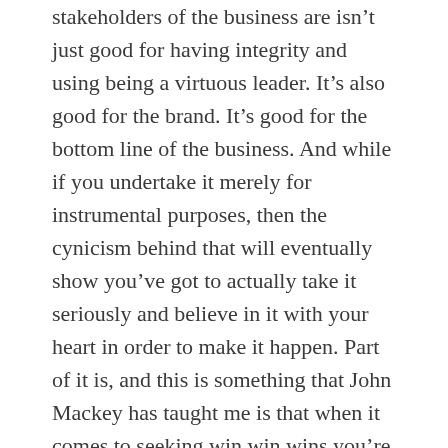stakeholders of the business are isn't just good for having integrity and using being a virtuous leader. It's also good for the brand. It's good for the bottom line of the business. And while if you undertake it merely for instrumental purposes, then the cynicism behind that will eventually show you've got to actually take it seriously and believe in it with your heart in order to make it happen. Part of it is, and this is something that John Mackey has taught me is that when it comes to seeking win win wins you're always dealing with a transactional compromise right? Inevitably it seems like, okay in this situation it's give or take. We on one side means a loss for the other. And, what he recommends is that it's almost like a way of